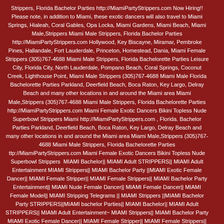Strippers, Florida Bachelor Parties http://MiamiPartyStrippers.com Now Hiring!! Please note, in addition to Miami, these exotic dancers will also travel to Miami Springs, Hialeah, Coral Gables, Opa Locka, Miami Gardens, Miami Beach, Miami Male,Strippers Miami Male Strippers, Florida Bachelor Parties http://MiamiPartyStrippers.com Hollywood, Key Biscayne, Miramar, Pembroke Pines, Hallandale, Fort Lauderdale, Princeton, Homestead, Dania, Miami Female Strippers (305)767-4688 Miami Male Strippers, Florida Bachelorette Parties Leisure City, Florida City, North Lauderdale, Pompano Beach, Coral Springs, Coconut Creek, Lighthouse Point, Miami Male Strippers (305)767-4688 Miami Male Florida Bachelorette Parties Parkland, Deerfield Beach, Boca Raton, Key Largo, Delray Beach and many other locations in and around the Miami area Miami Male,Strippers (305)767-4688 Miami Male Strippers, Florida Bachelorette Parties http://MiamiPartyStrippers.com Miami Female Exotic Dancers Bikini Topless Nude Superbowl Strippers Miami http://MiamiPartyStrippers.com , Florida. Bachelor Parties Parkland, Deerfield Beach, Boca Raton, Key Largo, Delray Beach and many other locations in and around the Miami area Miami Male,Strippers (305)767-4688 Miami Male Strippers, Florida Bachelorette Parties ttp://MiamiPartyStrippers.com Miami Female Exotic Dancers Bikini Topless Nude Superbowl Strippers  MIAMI Bachelor|| MIAMI Adult STRIPPERS|| MIAMI Adult Entertainment MIAMI Strippers|| MIAMI Bachelor Party ||MIAMI Exotic Female Dancer|| MIAMI Female Stripper|| MIAMI Female Strippers|| MIAMI Bachelor Party Entertainment|| MIAMI Nude Female Dancer|| MIAMI Female Dancer|| MIAMI Female Model|| MIAMI Stripping Telegrams || MIAMI Strippers ||MIAMI Bachelor Party STRIPPERS||MIAMI bachelor Parties|| MIAMI Bachelor|| MIAMI Adult STRIPPERS|| MIAMI Adult Entertainment~ MIAMI Strippers|| MIAMI Bachelor Party MIAMI Exotic Female Dancer|| MIAMI Female Stripper|| MIAMI Female Strippers|| MIAMI Bachelor Party Entertainment|| MIAMI Nude Female Dancer|| MIAMI Female Dancer|| MIAMI Female Model|| MIAMI Stripping Telegrams || Florida Strippers Miami Strippers Bachelor Party